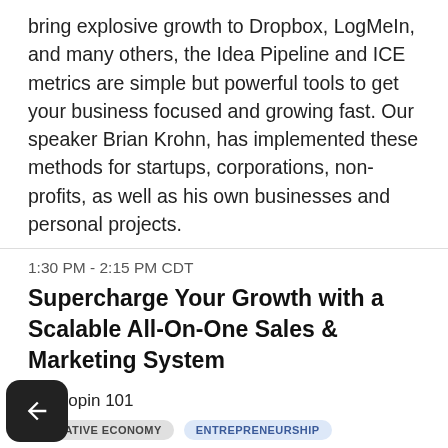bring explosive growth to Dropbox, LogMeIn, and many others, the Idea Pipeline and ICE metrics are simple but powerful tools to get your business focused and growing fast. Our speaker Brian Krohn, has implemented these methods for startups, corporations, non-profits, as well as his own businesses and personal projects.
1:30 PM - 2:15 PM CDT
Supercharge Your Growth with a Scalable All-On-One Sales & Marketing System
Hopin 101
CREATIVE ECONOMY
ENTREPRENEURSHIP